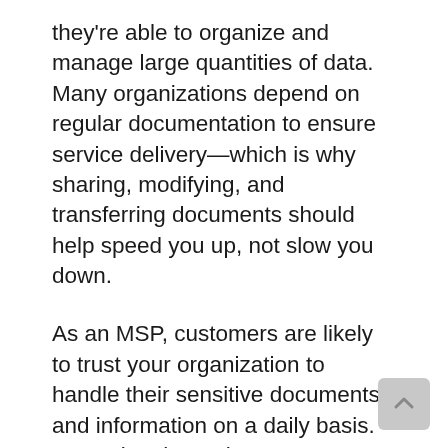they're able to organize and manage large quantities of data. Many organizations depend on regular documentation to ensure service delivery—which is why sharing, modifying, and transferring documents should help speed you up, not slow you down.
As an MSP, customers are likely to trust your organization to handle their sensitive documents and information on a daily basis. Managing these documents through more efficient processes will enable you to offer more value-adding services. This guide will reiterate the importance of document management for MSPs and suggest three clever ideas to help optimize your document management strategy.